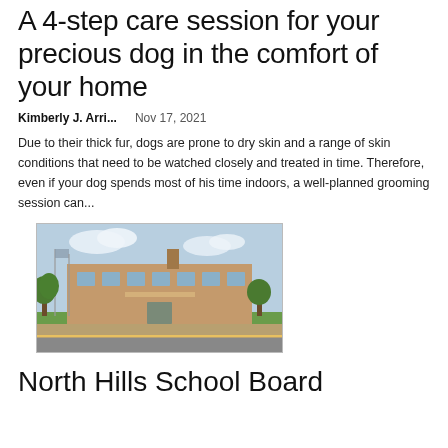A 4-step care session for your precious dog in the comfort of your home
Kimberly J. Arri...   Nov 17, 2021
Due to their thick fur, dogs are prone to dry skin and a range of skin conditions that need to be watched closely and treated in time. Therefore, even if your dog spends most of his time indoors, a well-planned grooming session can...
[Figure (photo): Photograph of a school building exterior with trees, flagpoles, and a covered entrance. Brick building with green lawn and parking area.]
North Hills School Board